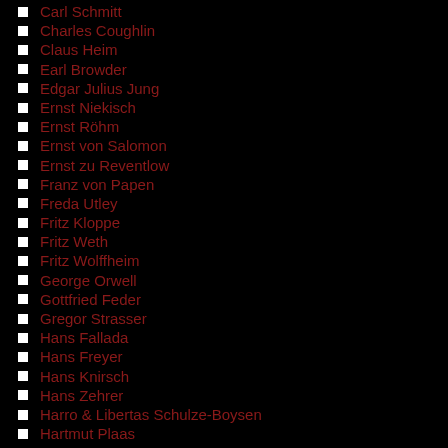Carl Schmitt
Charles Coughlin
Claus Heim
Earl Browder
Edgar Julius Jung
Ernst Niekisch
Ernst Röhm
Ernst von Salomon
Ernst zu Reventlow
Franz von Papen
Freda Utley
Fritz Kloppe
Fritz Weth
Fritz Wolffheim
George Orwell
Gottfried Feder
Gregor Strasser
Hans Fallada
Hans Freyer
Hans Knirsch
Hans Zehrer
Harro & Libertas Schulze-Boysen
Hartmut Plaas